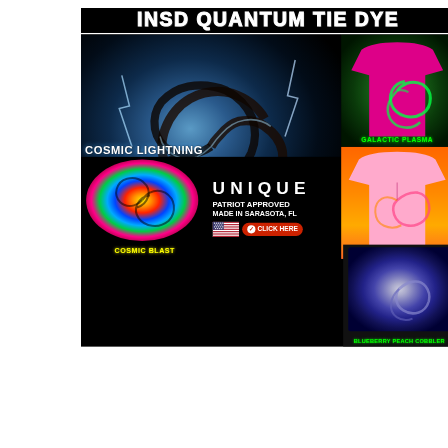[Figure (illustration): Advertisement for INSD Quantum Tie Dye. Features multiple tie-dye shirt designs: 'Cosmic Lightning' (large black/teal/blue spiral shirt), 'Galactic Plasma' (green/pink spiral on dark background), 'Tequila Sunrise' (pink/orange/yellow shirt on orange background), 'Cosmic Blast' (colorful rainbow spiral), 'Blueberry Peach Cobbler' (blue/grey spiral). Center text reads 'UNIQUE / PATRIOT APPROVED / MADE IN SARASOTA, FL' with US flag and red 'CLICK HERE' button.]